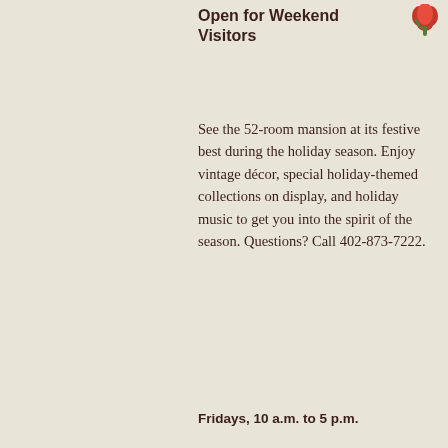Open for Weekend Visitors
See the 52-room mansion at its festive best during the holiday season. Enjoy vintage décor, special holiday-themed collections on display, and holiday music to get you into the spirit of the season. Questions? Call 402-873-7222.
Fridays, 10 a.m. to 5 p.m.